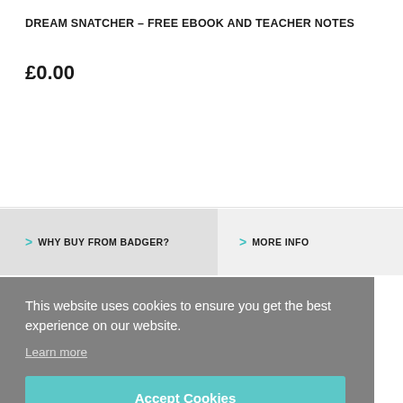DREAM SNATCHER – FREE EBOOK AND TEACHER NOTES
£0.00
> WHY BUY FROM BADGER?
> MORE INFO
This website uses cookies to ensure you get the best experience on our website.
Learn more
Accept Cookies